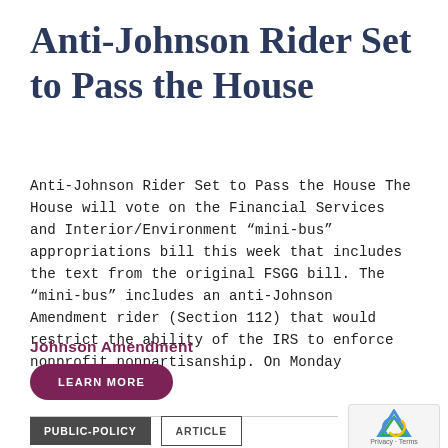Anti-Johnson Rider Set to Pass the House
Anti-Johnson Rider Set to Pass the House The House will vote on the Financial Services and Interior/Environment “mini-bus” appropriations bill this week that includes the text from the original FSGG bill. The “mini-bus” includes an anti-Johnson Amendment rider (Section 112) that would restrict the ability of the IRS to enforce nonprofit nonpartisanship. On Monday evening, [...]
Johnson Amendment
LEARN MORE
PUBLIC-POLICY
ARTICLE